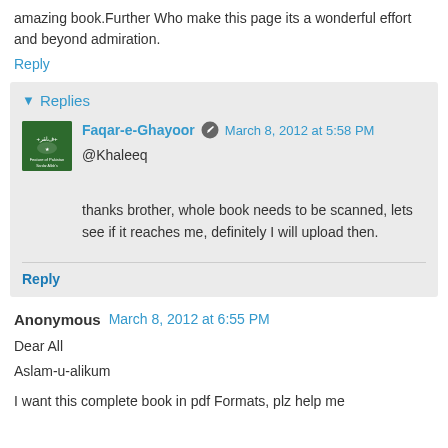amazing book.Further Who make this page its a wonderful effort and beyond admiration.
Reply
▾ Replies
Faqar-e-Ghayoor  March 8, 2012 at 5:58 PM
@Khaleeq

thanks brother, whole book needs to be scanned, lets see if it reaches me, definitely I will upload then.
Reply
Anonymous  March 8, 2012 at 6:55 PM
Dear All
Aslam-u-alikum
I want this complete book in pdf Formats, plz help me